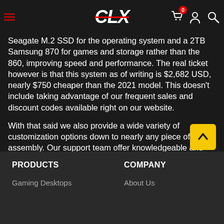CLX (navigation bar with logo, cart icon, user icon, search icon)
Seagate M.2 SSD for the operating system and a 2TB Samsung 870 for games and storage rather than the 860, improving speed and performance. The real ticket however is that this system as of writing is $2,682 USD, nearly $750 cheaper than the 2021 model. This doesn't include taking advantage of our frequent sales and discount codes available right on our website.
With that said we also provide a wide variety of customization options down to nearly any piece of the assembly. Our support team offer knowledgeable and skilled assistance with designing your custom CLX system and for those looking for something easier, we have pre-built systems ready to ship as well.
Click here to launch the configurator to begin designing your own custom CLX gaming PC!
PRODUCTS | COMPANY | Gaming Desktops | About Us